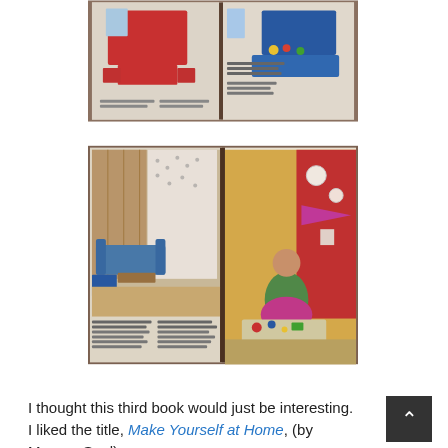[Figure (photo): Photograph of an open vintage book showing interior design pages with red furniture/bed on the left page and blue furniture on the right page, mid-century modern style illustrations.]
[Figure (photo): Photograph of an open vintage book showing interior design pages: left page has a mid-century modern living room with blue sofa and curtains, right page shows a woman sitting on the floor surrounded by craft items with decorative items on a red wall behind her.]
I thought this third book would just be interesting.  I liked the title, Make Yourself at Home, (by Moorea Seal) as